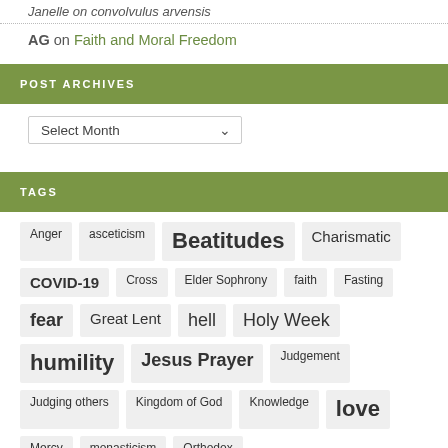Janelle on convolvulus arvensis
AG on Faith and Moral Freedom
POST ARCHIVES
Select Month
TAGS
Anger
asceticism
Beatitudes
Charismatic
COVID-19
Cross
Elder Sophrony
faith
Fasting
fear
Great Lent
hell
Holy Week
humility
Jesus Prayer
Judgement
Judging others
Kingdom of God
Knowledge
love
Mercy
monasticism
Orthodox